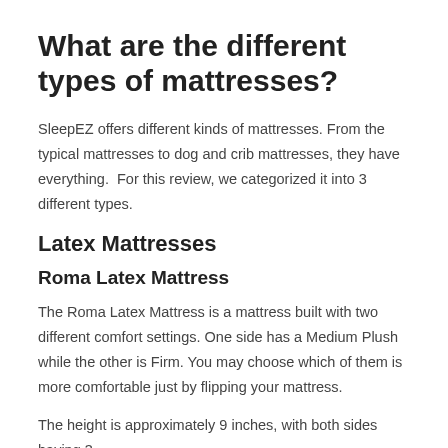What are the different types of mattresses?
SleepEZ offers different kinds of mattresses. From the typical mattresses to dog and crib mattresses, they have everything.  For this review, we categorized it into 3 different types.
Latex Mattresses
Roma Latex Mattress
The Roma Latex Mattress is a mattress built with two different comfort settings. One side has a Medium Plush while the other is Firm. You may choose which of them is more comfortable just by flipping your mattress.
The height is approximately 9 inches, with both sides having 3